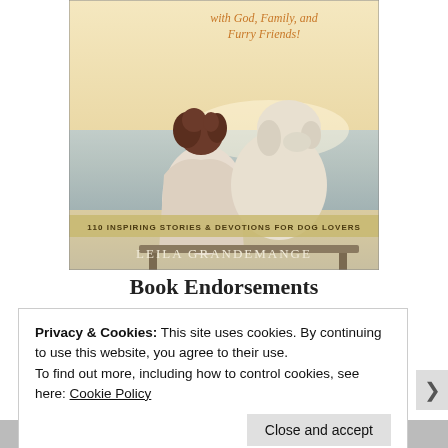[Figure (illustration): Book cover showing a woman with curly hair and a light-colored dog sitting together viewed from behind, looking at water/ocean. Text on cover: 'with God, Family, and Furry Friends!' in orange cursive, '110 INSPIRING STORIES & DEVOTIONS FOR DOG LOVERS' in a gold banner, and 'LEILA GRANDEMANGE' at the bottom.]
Book Endorsements
Privacy & Cookies: This site uses cookies. By continuing to use this website, you agree to their use.
To find out more, including how to control cookies, see here: Cookie Policy
Close and accept